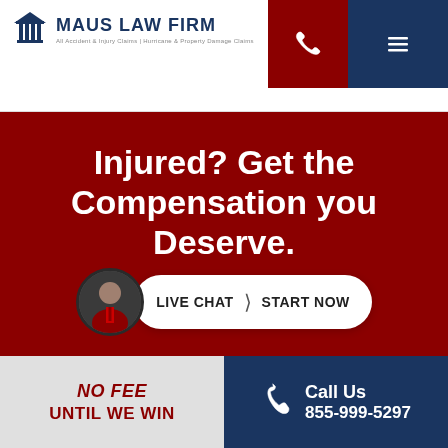[Figure (logo): Maus Law Firm logo with pillar/columns icon, firm name in navy blue, tagline below]
[Figure (screenshot): Red phone button and dark navy hamburger menu button in top right navigation]
Injured? Get the Compensation you Deserve.
[Figure (photo): Circular avatar photo of a man in a suit with a red tie]
LIVE CHAT  START NOW
NO FEE UNTIL WE WIN
Call Us 855-999-5297